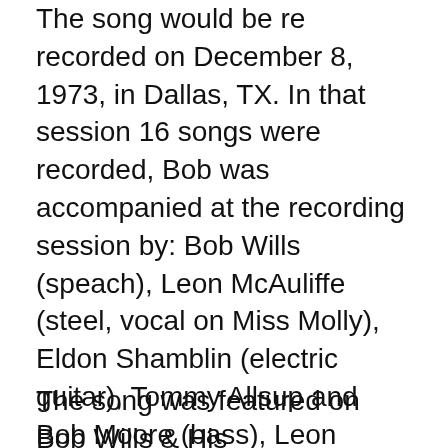The song would be re recorded on December 8, 1973, in Dallas, TX. In that session 16 songs were recorded, Bob was accompanied at the recording session by: Bob Wills (speach), Leon McAuliffe (steel, vocal on Miss Molly), Eldon Shamblin (electric guitar), Tommy Allsup and Bob Moore (bass), Leon Rausch (bass, vocal), Jody Nix (drums and vocal), Smokey Dacus (drums), Keith Coleman (fiddle), Johnny Gimble (fiddle and electric mandolin), Hoyle Nix (fiddle and vocal) and Al Stricklin (piano).
The song was featured on Bob Wills & His